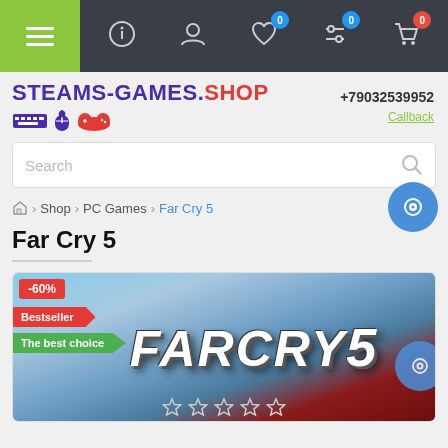Navigation bar with hamburger menu, info, user, wishlist (0), filters (0), cart (0)
[Figure (logo): STEAMS-GAMES.SHOP logo with keyboard, mouse, and gamepad icons]
+79032539952
Callback
Search
Shop > PC Games > Far Cry 5
Far Cry 5
[Figure (screenshot): Far Cry 5 product image with -60% discount badge, Bestseller badge, The best choice badge, and Far Cry 5 game logo with stars at bottom]